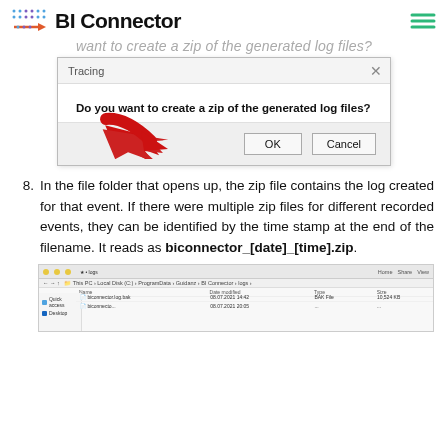BI Connector
want to create a zip of the generated log files?
[Figure (screenshot): Windows dialog box titled 'Tracing' asking 'Do you want to create a zip of the generated log files?' with OK and Cancel buttons, and a red arrow pointing to the OK button.]
8. In the file folder that opens up, the zip file contains the log created for that event. If there were multiple zip files for different recorded events, they can be identified by the time stamp at the end of the filename. It reads as biconnector_[date]_[time].zip.
[Figure (screenshot): Windows File Explorer screenshot showing the logs directory with files including biconnector.log.bak and biconnector entries with dates and file sizes.]